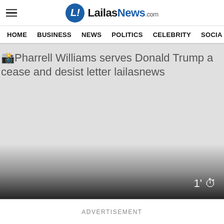LailasNews.com
HOME  BUSINESS  NEWS  POLITICS  CELEBRITY  SOCIA
[Figure (photo): Broken image placeholder with alt text: Pharrell Williams serves Donald Trump a cease and desist letter lailasnews. Light gray background with gradient overlay at bottom and a timer overlay showing 1' with a clock icon.]
ADVERTISEMENT